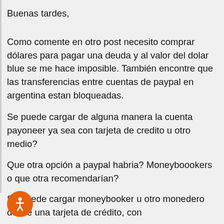Payoneer
Buenas tardes,
Como comente en otro post necesito comprar dólares para pagar una deuda y al valor del dolar blue se me hace imposible. También encontre que las transferencias entre cuentas de paypal en argentina estan bloqueadas.
Se puede cargar de alguna manera la cuenta payoneer ya sea con tarjeta de credito u otro medio?
Que otra opción a paypal habria? Moneyboookers o que otra recomendarían?
Se puede cargar moneybooker u otro monedero desde una tarjeta de crédito, con